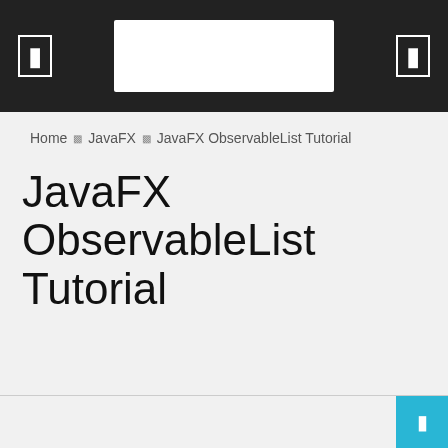Navigation bar with menu icon, search box, and settings icon
Home › JavaFX › JavaFX ObservableList Tutorial
JavaFX ObservableList Tutorial